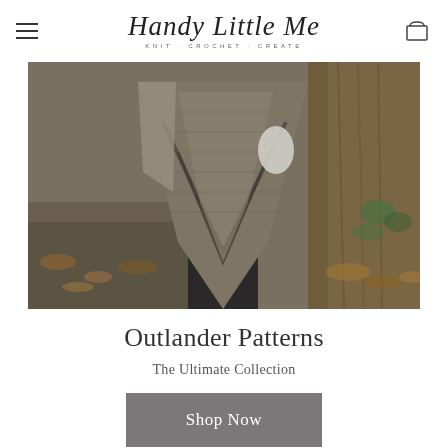Handy Little Me — KNIT · CROCHET · CREATE
[Figure (photo): A person wearing a hand-knitted triangular shawl/poncho in grey-brown tones, standing near a tree with autumn leaves on the ground. The shawl features a distinctive V-shaped textured pattern.]
Outlander Patterns
The Ultimate Collection
Shop Now